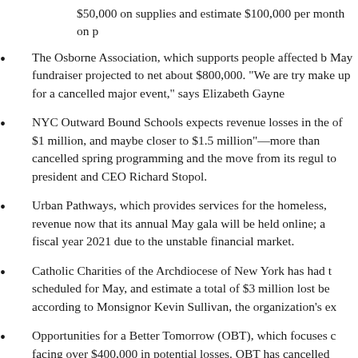$50,000 on supplies and estimate $100,000 per month on p
The Osborne Association, which supports people affected b May fundraiser projected to net about $800,000. "We are try make up for a cancelled major event," says Elizabeth Gayne
NYC Outward Bound Schools expects revenue losses in the of $1 million, and maybe closer to $1.5 million"—more than cancelled spring programming and the move from its regul to president and CEO Richard Stopol.
Urban Pathways, which provides services for the homeless, revenue now that its annual May gala will be held online; a fiscal year 2021 due to the unstable financial market.
Catholic Charities of the Archdiocese of New York has had t scheduled for May, and estimate a total of $3 million lost be according to Monsignor Kevin Sullivan, the organization's ex
Opportunities for a Better Tomorrow (OBT), which focuses c facing over $400,000 in potential losses. OBT has cancelled